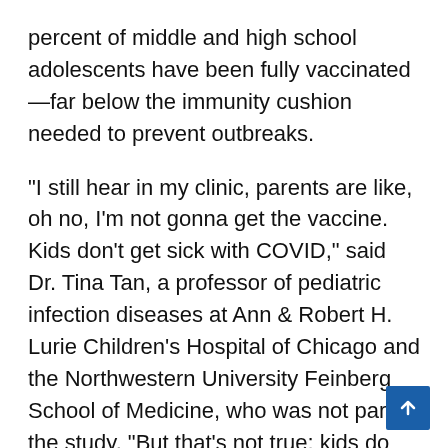percent of middle and high school adolescents have been fully vaccinated—far below the immunity cushion needed to prevent outbreaks.
“I still hear in my clinic, parents are like, oh no, I’m not gonna get the vaccine. Kids don’t get sick with COVID,” said Dr. Tina Tan, a professor of pediatric infection diseases at Ann & Robert H. Lurie Children’s Hospital of Chicago and the Northwestern University Feinberg School of Medicine, who was not part of the study. “But that’s not true; kids do get sick. … And as we are learning more, we are now seeing kids that are having different long-term effects after having COVID.”